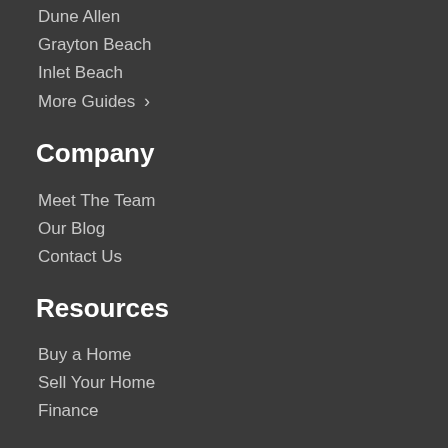Dune Allen
Grayton Beach
Inlet Beach
More Guides >
Company
Meet The Team
Our Blog
Contact Us
Resources
Buy a Home
Sell Your Home
Finance
Get Social
[Figure (infographic): Social media icons: RSS (orange), Facebook (blue), Twitter (light blue), YouTube (red)]